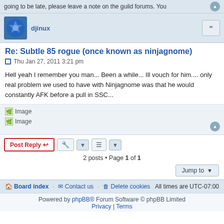going to be late, please leave a note on the guild forums. You
[Figure (photo): User avatar for djinux - blue dice icon]
djinux
Re: Subtle 85 rogue (once known as ninjagnome)
Thu Jan 27, 2011 3:21 pm
Hell yeah I remember you man... Been a while... Ill vouch for him.... only real problem we used to have with Ninjagnome was that he would constantly AFK before a pull in SSC...
[Figure (illustration): Two broken image placeholders labeled Image]
Post Reply
2 posts • Page 1 of 1
Jump to
Board index   Contact us   Delete cookies   All times are UTC-07:00
Powered by phpBB® Forum Software © phpBB Limited   Privacy | Terms